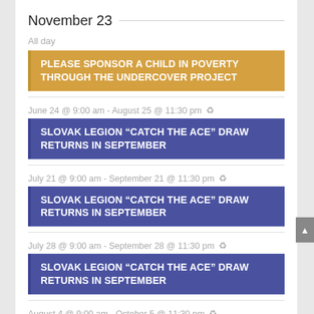November 23
All day
PLEASE SPONSOR A CHILD IN POVERTY THROUGH THE UNDERCOVER PROJECT
June 24 @ 9:00 am - August 25 @ 11:30 pm
SLOVAK LEGION “CATCH THE ACE” DRAW RETURNS IN SEPTEMBER
July 21 @ 9:00 am - September 21 @ 11:30 pm
SLOVAK LEGION “CATCH THE ACE” DRAW RETURNS IN SEPTEMBER
July 28 @ 9:00 am - September 28 @ 11:30 pm
SLOVAK LEGION “CATCH THE ACE” DRAW RETURNS IN SEPTEMBER
August 4 @ 9:00 am - October 5 @ 11:30 pm
SLOVAK LEGION “CATCH THE ACE” DRAW